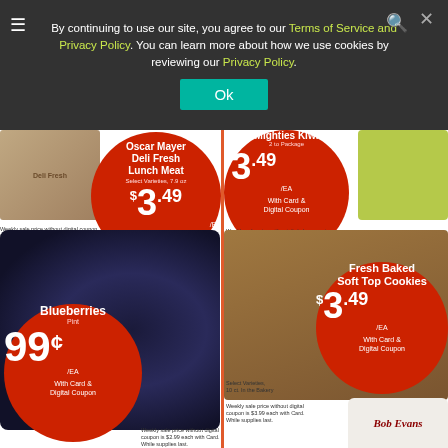By continuing to use our site, you agree to our Terms of Service and Privacy Policy. You can learn more about how we use cookies by reviewing our Privacy Policy.
[Figure (screenshot): Cookie consent overlay on a grocery store weekly ad page showing Oscar Mayer Deli Fresh Lunch Meat $3.49/EA, Blueberries 99¢/EA, Mighties Kiwi $3.49/EA, Fresh Baked Soft Top Cookies $3.49/EA with Card & Digital Coupon]
Oscar Mayer Deli Fresh Lunch Meat Select Varieties, 7.9 oz $3.49 /EA With Card & Digital Coupon
Weekly sale price without digital coupon is $3.99 each with Card. While supplies last.
Blueberries Pint 99¢ /EA With Card & Digital Coupon
Weekly sale price without digital coupon is $2.99 each with Card. While supplies last.
Mighties Kiwi 2 to Package $3.49 /EA With Card & Digital Coupon
Weekly sale price without digital coupon is $4.99 each with Card. While supplies last.
Fresh Baked Soft Top Cookies Select Varieties, 10 ct. In the Bakery $3.49 /EA With Card & Digital Coupon
Weekly sale price without digital coupon is $3.99 each with Card. While supplies last.